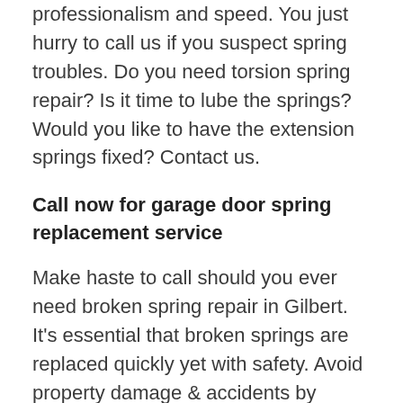professionalism and speed. You just hurry to call us if you suspect spring troubles. Do you need torsion spring repair? Is it time to lube the springs? Would you like to have the extension springs fixed? Contact us.
Call now for garage door spring replacement service
Make haste to call should you ever need broken spring repair in Gilbert. It's essential that broken springs are replaced quickly yet with safety. Avoid property damage & accidents by turning to us. We proudly work with techs that have spent a lifetime in the garage door repair Gilbert AZ service field, are insured, and know how to do the job in a safe and proper manner. Not only do they show up quickly to offer the most, but let me there...